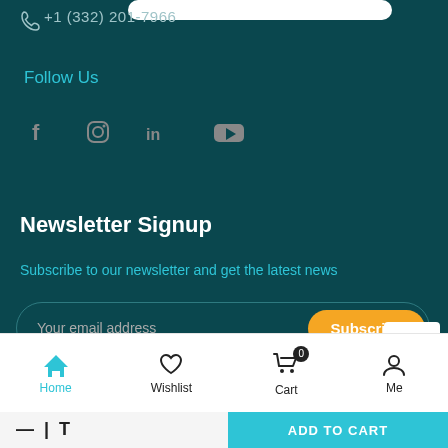+1 (332) 201-7966
Follow Us
[Figure (infographic): Social media icons: Facebook, Instagram, LinkedIn, YouTube]
Newsletter Signup
Subscribe to our newsletter and get the latest news
Your email address
Subscribe
Home  Wishlist  Cart  Me